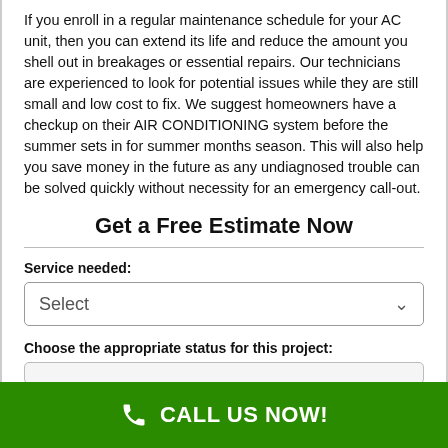If you enroll in a regular maintenance schedule for your AC unit, then you can extend its life and reduce the amount you shell out in breakages or essential repairs. Our technicians are experienced to look for potential issues while they are still small and low cost to fix. We suggest homeowners have a checkup on their AIR CONDITIONING system before the summer sets in for summer months season. This will also help you save money in the future as any undiagnosed trouble can be solved quickly without necessity for an emergency call-out.
Get a Free Estimate Now
Service needed:
[Figure (screenshot): A dropdown select box with placeholder text 'Select' and a chevron arrow on the right]
Choose the appropriate status for this project:
CALL US NOW!